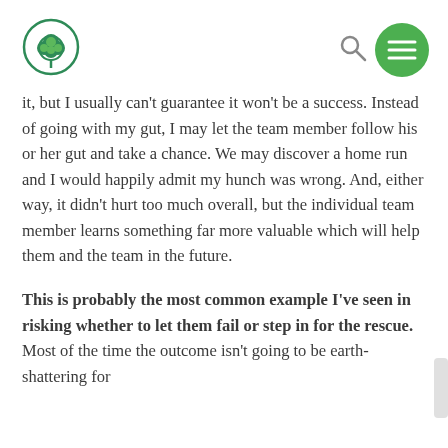it, but I usually can't guarantee it won't be a success. Instead of going with my gut, I may let the team member follow his or her gut and take a chance. We may discover a home run and I would happily admit my hunch was wrong. And, either way, it didn't hurt too much overall, but the individual team member learns something far more valuable which will help them and the team in the future.
This is probably the most common example I've seen in risking whether to let them fail or step in for the rescue. Most of the time the outcome isn't going to be earth-shattering for